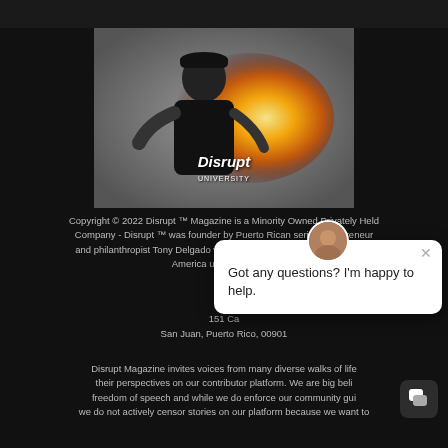[Figure (photo): Person wearing a black 'Disrupt University' t-shirt and cap, with dramatic fire/explosion effect emanating from their body, against a grey background. The brand name 'Disrupt' is visible on the shirt.]
Copyright © 2022 Disrupt ™ Magazine is a Minority Owned Privately Held Company - Disrupt ™ was founder by Puerto Rican serial entrepreneur and philanthropist Tony Delgado who is on a mission to transform Latin America using the power of...
Disr...
151 Ca...
San Juan, Puerto Rico, 00901
[Figure (screenshot): Chat popup overlay showing an avatar of a person and the message 'Got any questions? I'm happy to help.' with an X close button]
Disrupt Magazine invites voices from many diverse walks of life... their perspectives on our contributor platform. We are big beli... freedom of speech and while we do enforce our community gui... , we do not actively censor stories on our platform because we want to